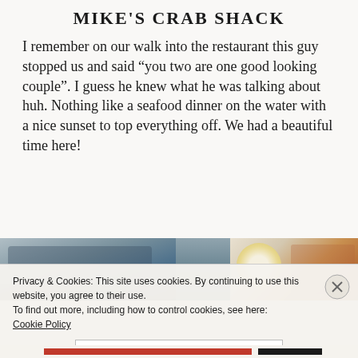MIKE'S CRAB SHACK
I remember on our walk into the restaurant this guy stopped us and said “you two are one good looking couple”. I guess he knew what he was talking about huh. Nothing like a seafood dinner on the water with a nice sunset to top everything off. We had a beautiful time here!
[Figure (photo): Photos strip showing restaurant exterior and food dishes]
Privacy & Cookies: This site uses cookies. By continuing to use this website, you agree to their use.
To find out more, including how to control cookies, see here:
Cookie Policy
Close and accept